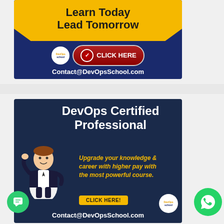[Figure (illustration): DevOpsSchool advertisement banner 1: dark blue background with yellow pennant shape at top containing text 'Learn Today Lead Tomorrow', with DevOps School logo circle, red 'CLICK HERE' button with checkmark, and white text 'Contact@DevOpsSchool.com']
[Figure (illustration): DevOpsSchool advertisement banner 2: dark navy background with white bold text 'DevOps Certified Professional', yellow italic text 'Upgrade your knowledge & career with higher pay with the most powerful course.', cartoon person figure on left, yellow 'CLICK HERE!' button, DevOps School logo, and white text 'Contact@DevOpsSchool.com']